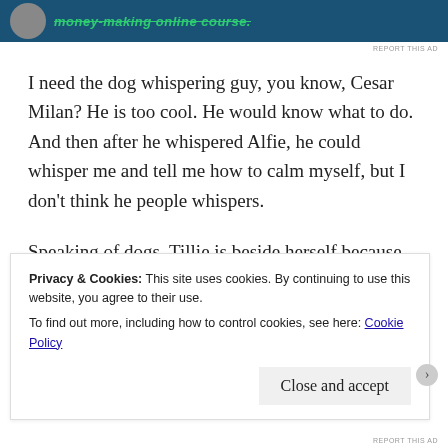[Figure (other): Advertisement banner with dark blue background, circular avatar icon, and green italic strikethrough text reading 'money-making online course.']
REPORT THIS AD
I need the dog whispering guy, you know, Cesar Milan? He is too cool. He would know what to do. And then after he whispered Alfie, he could whisper me and tell me how to calm myself, but I don't think he people whispers.
Speaking of dogs, Tillie is beside herself because we haven't gone outside to play yet, and no matter how many times I tell her that it's muddy and rainy out, she will not desist. Seriously, this dog tries to climb into my lap when I'm sitting her at the computer.
Privacy & Cookies: This site uses cookies. By continuing to use this website, you agree to their use.
To find out more, including how to control cookies, see here: Cookie Policy
Close and accept